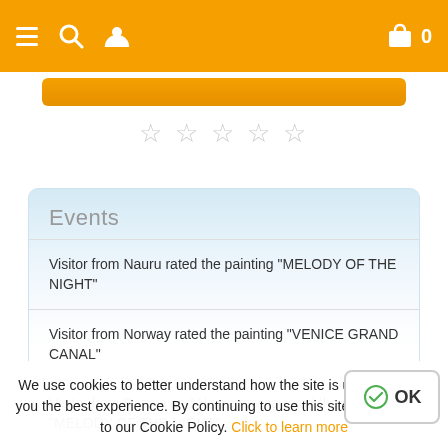[Figure (screenshot): Orange navigation bar with hamburger menu, search icon, user icon on the left, and shopping cart with count 0 on the right]
[Figure (other): Orange button below navigation bar]
[Figure (other): Five empty/grey star rating icons]
Events
Visitor from Nauru rated the painting "MELODY OF THE NIGHT"
Visitor from Norway rated the painting "VENICE GRAND CANAL"
Visitor from Bosnia and Herzegowina rated the painting "MELODY OF THE NIGHT"
We use cookies to better understand how the site is used and give you the best experience. By continuing to use this site, you consent to our Cookie Policy. Click to learn more